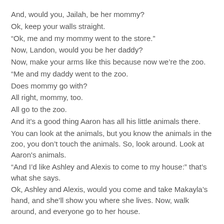And, would you, Jailah, be her mommy?
Ok, keep your walls straight.
“Ok, me and my mommy went to the store.”
Now, Landon, would you be her daddy?
Now, make your arms like this because now we’re the zoo.
“Me and my daddy went to the zoo.
Does mommy go with?
All right, mommy, too.
All go to the zoo.
And it’s a good thing Aaron has all his little animals there.
You can look at the animals, but you know the animals in the zoo, you don’t touch the animals. So, look around. Look at Aaron's animals.
“And I’d like Ashley and Alexis to come to my house:” that’s what she says.
Ok, Ashley and Alexis, would you come and take Makayla’s hand, and she’ll show you where she lives. Now, walk around, and everyone go to her house.